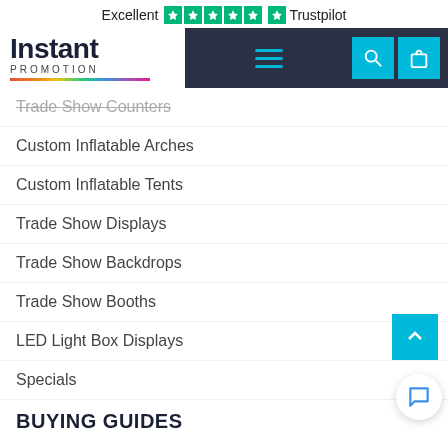Excellent ★★★★★ Trustpilot
[Figure (screenshot): Instant Promotion logo with navigation header bar containing hamburger menu, search icon, and shopping bag icon on dark navy background]
Trade Show Counters
Custom Inflatable Arches
Custom Inflatable Tents
Trade Show Displays
Trade Show Backdrops
Trade Show Booths
LED Light Box Displays
Specials
BUYING GUIDES